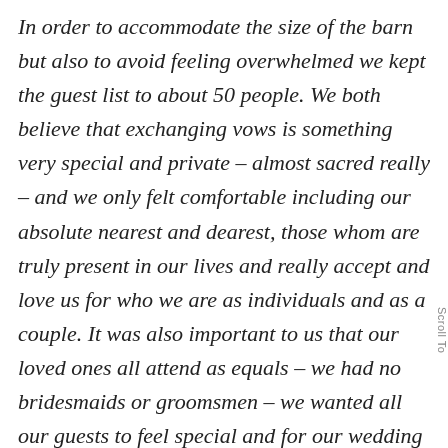In order to accommodate the size of the barn but also to avoid feeling overwhelmed we kept the guest list to about 50 people. We both believe that exchanging vows is something very special and private – almost sacred really – and we only felt comfortable including our absolute nearest and dearest, those whom are truly present in our lives and really accept and love us for who we are as individuals and as a couple. It was also important to us that our loved ones all attend as equals – we had no bridesmaids or groomsmen – we wanted all our guests to feel special and for our wedding to be like one big family gathering where everyone could relax without the pressure of being responsible for certain traditional duties...